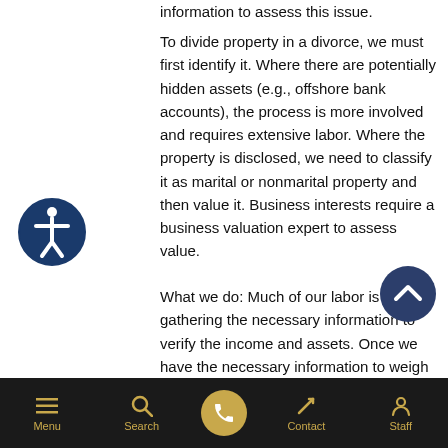information to assess this issue.
To divide property in a divorce, we must first identify it. Where there are potentially hidden assets (e.g., offshore bank accounts), the process is more involved and requires extensive labor. Where the property is disclosed, we need to classify it as marital or nonmarital property and then value it. Business interests require a business valuation expert to assess value.
What we do: Much of our labor is just gathering the necessary information to verify the income and assets. Once we have the necessary information to weigh options concerning a settlement, we discuss with our clients our opinions of the case. As lawyers,
[Figure (illustration): Accessibility icon: white stick figure person in a circle with dark blue border and background]
[Figure (illustration): Dark navy blue circular scroll-to-top button with upward chevron arrow]
Menu | Search | [Call button] | Contact | Staff